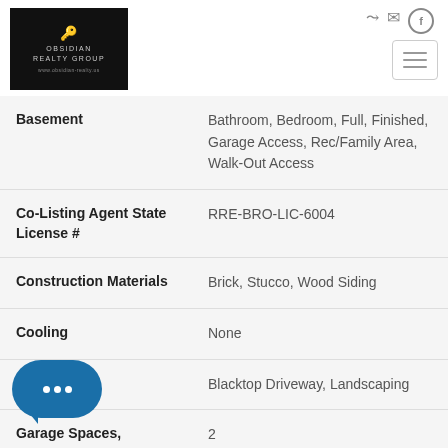[Figure (logo): Obsidian Realty Group logo — black background with key icon and company name]
| Field | Value |
| --- | --- |
| Basement | Bathroom, Bedroom, Full, Finished, Garage Access, Rec/Family Area, Walk-Out Access |
| Co-Listing Agent State License # | RRE-BRO-LIC-6004 |
| Construction Materials | Brick, Stucco, Wood Siding |
| Cooling | None |
| Features | Blacktop Driveway, Landscaping |
| Garage Spaces, | 2 |